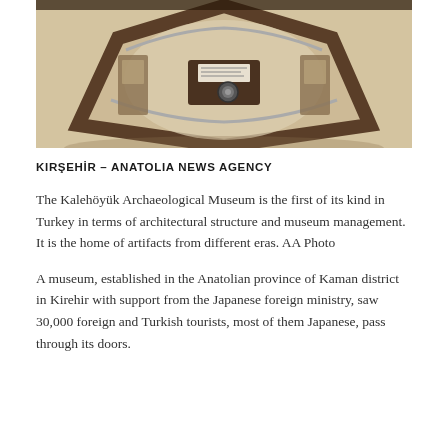[Figure (photo): Interior photograph of the Kalehöyük Archaeological Museum showing an octagonal or circular architectural structure with wooden beams, display cases, and museum exhibits viewed from above]
KIRŞEHİR – ANATOLIA NEWS AGENCY
The Kalehöyük Archaeological Museum is the first of its kind in Turkey in terms of architectural structure and museum management. It is the home of artifacts from different eras. AA Photo
A museum, established in the Anatolian province of Kaman district in Kirehir with support from the Japanese foreign ministry, saw 30,000 foreign and Turkish tourists, most of them Japanese, pass through its doors.